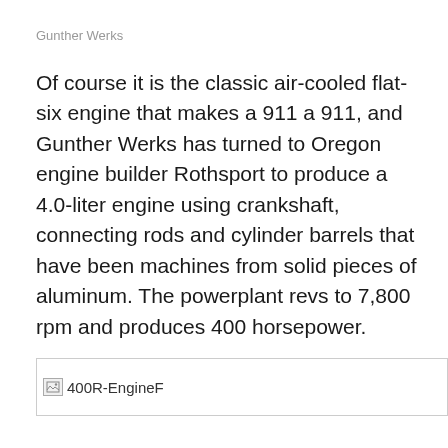Gunther Werks
Of course it is the classic air-cooled flat-six engine that makes a 911 a 911, and Gunther Werks has turned to Oregon engine builder Rothsport to produce a 4.0-liter engine using crankshaft, connecting rods and cylinder barrels that have been machines from solid pieces of aluminum. The powerplant revs to 7,800 rpm and produces 400 horsepower.
[Figure (photo): Broken image placeholder labeled 400R-EngineF]